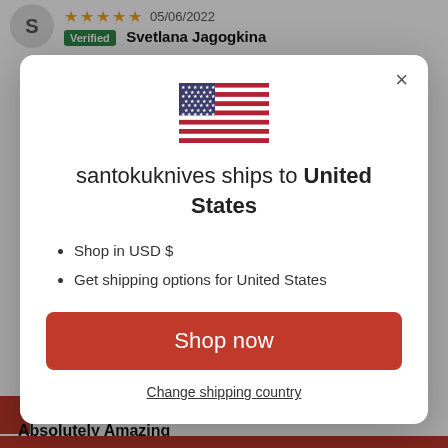[Figure (screenshot): A modal dialog overlay on an e-commerce product review page. The modal shows a US flag SVG, text 'santokuknives ships to United States', bullet points 'Shop in USD $' and 'Get shipping options for United States', a red 'Shop now' button, and a 'Change shipping country' link. Behind the modal, the top shows a reviewer avatar 'S', star rating, date '05/06/2022', verified badge and name 'Svetlana Jagogkina'. The bottom shows 'Absolutely Amazing' review heading and a red bar.]
santokuknives ships to United States
Shop in USD $
Get shipping options for United States
Shop now
Change shipping country